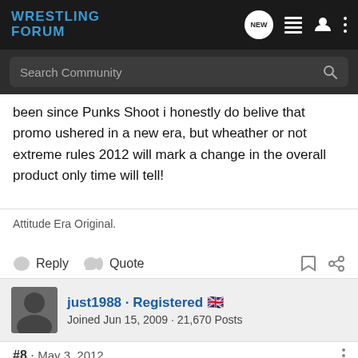Wrestling Forum
been since Punks Shoot i honestly do belive that promo ushered in a new era, but wheather or not extreme rules 2012 will mark a change in the overall product only time will tell!
Attitude Era Original.
Reply  Quote
just1988 · Registered 🇬🇧
Joined Jun 15, 2009 · 21,670 Posts
#8 · May 3, 2012
I don't think it marked a change in how WWE have been doing